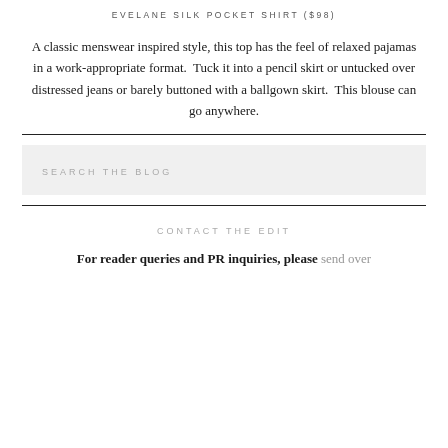EVELANE SILK POCKET SHIRT ($98)
A classic menswear inspired style, this top has the feel of relaxed pajamas in a work-appropriate format.  Tuck it into a pencil skirt or untucked over distressed jeans or barely buttoned with a ballgown skirt.  This blouse can go anywhere.
SEARCH THE BLOG
CONTACT THE EDIT
For reader queries and PR inquiries, please send over